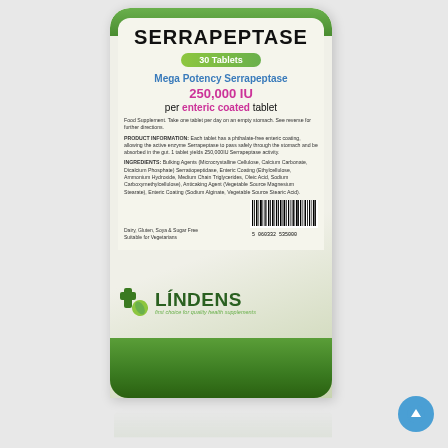[Figure (photo): Lindens Serrapeptase supplement product package - a bottle/pouch with white label showing product name, dosage information, ingredients, barcode, and Lindens brand logo with green cross and tagline. A reflection of the package appears below it.]
SERRAPEPTASE
30 Tablets
Mega Potency Serrapeptase 250,000 IU per enteric coated tablet
Food Supplement. Take one tablet per day on an empty stomach. See reverse for further directions.
PRODUCT INFORMATION: Each tablet has a phthalate-free enteric coating, allowing the active enzyme Serrapeptase to pass safely through the stomach and be absorbed in the gut. 1 tablet yields 250,000IU Serrapeptase activity.
INGREDIENTS: Bulking Agents (Microcrystalline Cellulose, Calcium Carbonate, Dicalcium Phosphate) Serratiopeptidase, Enteric Coating (Ethylcellulose, Ammonium Hydroxide, Medium Chain Triglycerides, Oleic Acid, Sodium Carboxymethylcellulose), Anticaking Agent (Vegetable Source Magnesium Stearate), Enteric Coating (Sodium Alginate, Vegetable Source Stearic Acid).
Dairy, Gluten, Soya & Sugar Free
Suitable for Vegetarians
LINDENS
first choice for quality health supplements